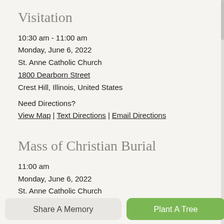Visitation
10:30 am - 11:00 am
Monday, June 6, 2022
St. Anne Catholic Church
1800 Dearborn Street
Crest Hill, Illinois, United States
Need Directions?
View Map | Text Directions | Email Directions
Mass of Christian Burial
11:00 am
Monday, June 6, 2022
St. Anne Catholic Church
1800 Dearborn Street
Share A Memory
Plant A Tree